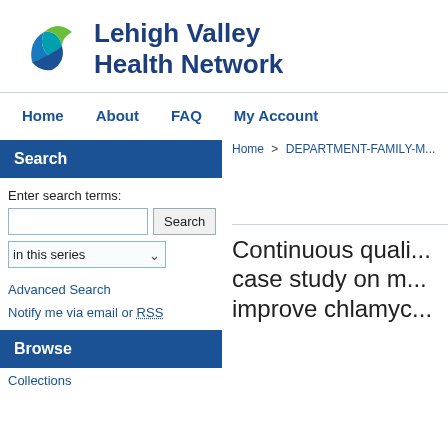[Figure (logo): Lehigh Valley Health Network logo with green and blue leaf/pinwheel icon and bold blue text]
Home   About   FAQ   My Account
Search
Enter search terms:
in this series
Advanced Search
Notify me via email or RSS
Browse
Collections
Home > DEPARTMENT-FAMILY-M...
Continuous quali... case study on m... improve chlamyc...